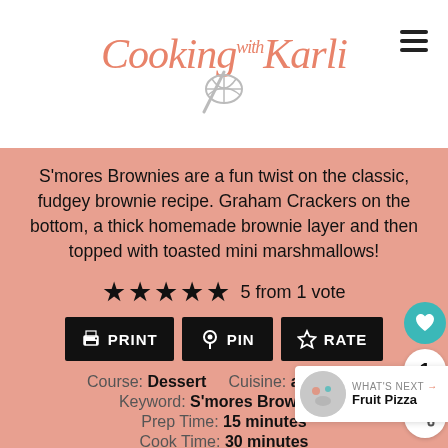[Figure (logo): Cooking with Karli logo with script text and whisk icon]
S'mores Brownies are a fun twist on the classic, fudgey brownie recipe. Graham Crackers on the bottom, a thick homemade brownie layer and then topped with toasted mini marshmallows!
5 from 1 vote
PRINT  PIN  RATE
Course: Dessert    Cuisine: amercian
Keyword: S'mores Brownies
Prep Time: 15 minutes
Cook Time: 30 minutes